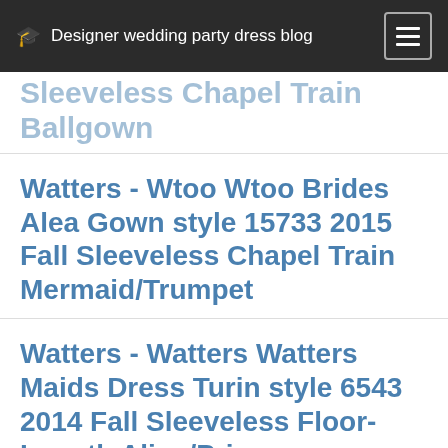Designer wedding party dress blog
Sleeveless Chapel Train Ballgown
Watters - Wtoo Wtoo Brides Alea Gown style 15733 2015 Fall Sleeveless Chapel Train Mermaid/Trumpet
Watters - Watters Watters Maids Dress Turin style 6543 2014 Fall Sleeveless Floor-Length Aline/Princess